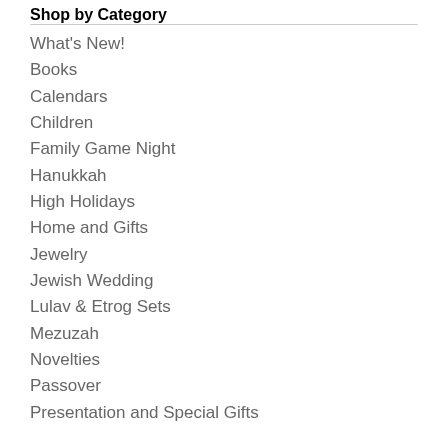Shop by Category
What's New!
Books
Calendars
Children
Family Game Night
Hanukkah
High Holidays
Home and Gifts
Jewelry
Jewish Wedding
Lulav & Etrog Sets
Mezuzah
Novelties
Passover
Presentation and Special Gifts